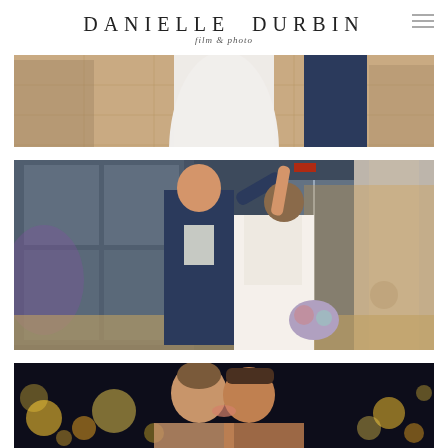DANIELLE DURBIN film & photo
[Figure (photo): Wedding photo showing lower bodies of couple standing on tiled venue floor, bride in white gown, groom in navy suit]
[Figure (photo): Wedding reception photo showing groom in navy suit smiling and spinning bride in white lace-back gown, holding bouquet, in front of glass building entrance with draped curtain]
[Figure (photo): Wedding photo showing couple kissing against dark background with bokeh lights]